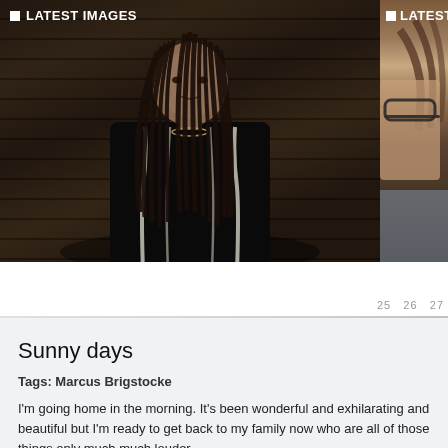LATEST IMAGES
[Figure (photo): Portrait photograph of a woman with long dreadlocks wearing a black and white patterned top, against a dark wooden plank background]
LATEST VI
[Figure (photo): Partial photo of a person wearing glasses, cropped, against a grey background]
25  26  27
Sunny days
Tags: Marcus Brigstocke
I'm going home in the morning. It's been wonderful and exhilarating and beautiful but I'm ready to get back to my family now who are all of those things only much much louder.